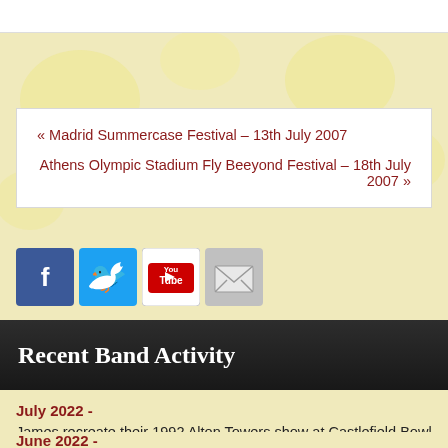« Madrid Summercase Festival – 13th July 2007
Athens Olympic Stadium Fly Beeyond Festival – 18th July 2007 »
[Figure (infographic): Social media icons: Facebook (blue), Twitter (light blue), YouTube (red/white), Email/Mail (grey)]
Recent Band Activity
July 2022 -
James recreate their 1992 Alton Towers show at Castlefield Bowl in Manchester, playing all 22 songs from that show in ... more
June 2022 -
James play a series of outdoor shows at Bath Racecourse